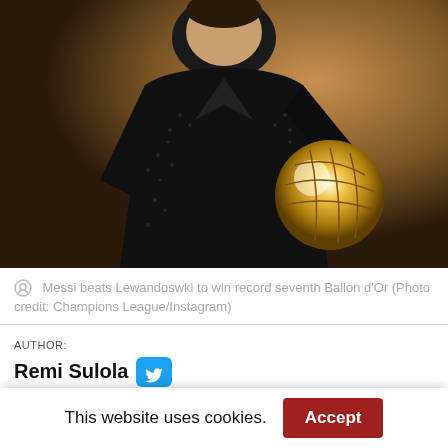[Figure (photo): Lionel Messi in a black sequined tuxedo holding the Ballon d'Or golden trophy, photographed at an awards ceremony against a warm blurred background.]
Messi beats Lewandoswki to win record seventh Ballon d'Or (Photo credit: Champions League/Instagram)
AUTHOR:
Remi Sulola
NOVEMBER 29, 2021 10:19 PM
This website uses cookies.  Accept